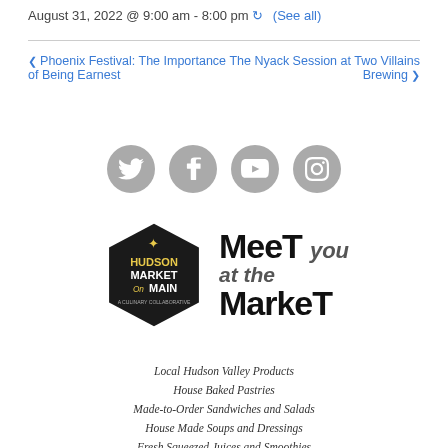August 31, 2022 @ 9:00 am - 8:00 pm  ↻ (See all)
❮ Phoenix Festival: The Importance of Being Earnest
The Nyack Session at Two Villains Brewing ❯
[Figure (infographic): Four gray circular social media icons: Twitter, Facebook, YouTube, Instagram]
[Figure (logo): Hudson Market on Main hexagon logo and 'Meet you at the Market' text banner]
Local Hudson Valley Products
House Baked Pastries
Made-to-Order Sandwiches and Salads
House Made Soups and Dressings
Fresh Squeezed Juices and Smoothies